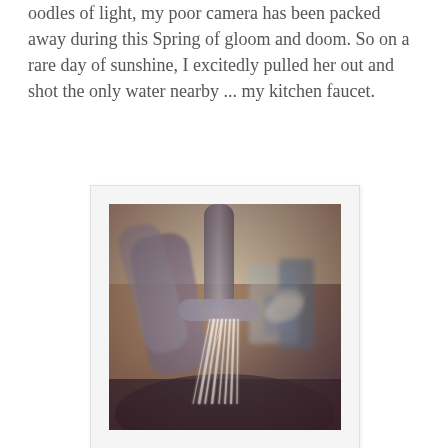oodles of light, my poor camera has been packed away during this Spring of gloom and doom. So on a rare day of sunshine, I excitedly pulled her out and shot the only water nearby ... my kitchen faucet.
[Figure (photo): A close-up photo of a kitchen faucet running water, shot in a vintage/Polaroid style with soft focus and warm tones. Water streams are visible falling from the faucet into a dark sink. Background shows blurred kitchen items.]